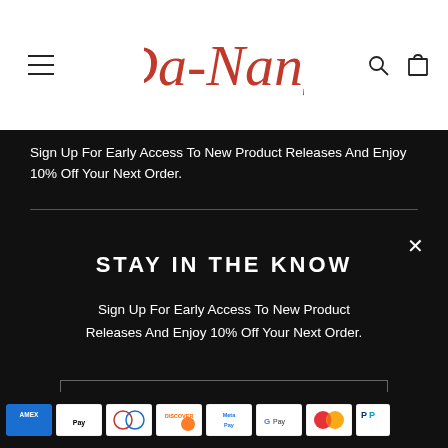Da-Nang
Sign Up For Early Access To New Product Releases And Enjoy 10% Off Your Next Order.
STAY IN THE KNOW
Sign Up For Early Access To New Product Releases And Enjoy 10% Off Your Next Order.
Enter your email
SUBSCRIBE
[Figure (other): Row of payment method logos: AMEX, Apple Pay, Diners Club, Discover, Meta Pay, Google Pay, Mastercard, PayPal]